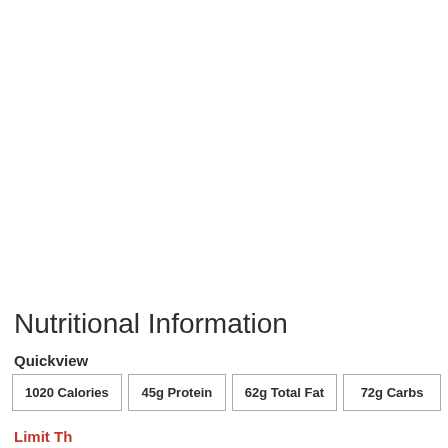Nutritional Information
Quickview
| 1020 Calories | 45g Protein | 62g Total Fat | 72g Carbs |
| --- | --- | --- | --- |
Limit Th…